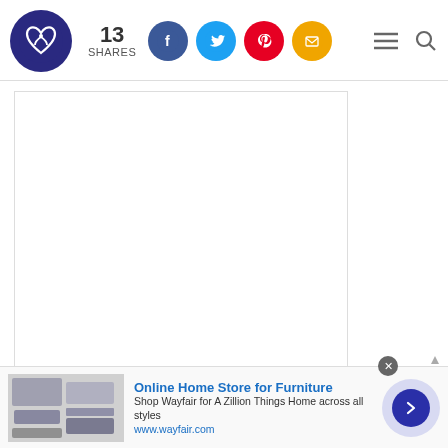13 SHARES — social sharing icons: Facebook, Twitter, Pinterest, Email — hamburger menu, search icon — logo
[Figure (other): Embedded social media post placeholder (Instagram/Twitter embed, mostly white)]
A post shared by MONTERO (@lilnasx)
4. Lil Nas X called out the double standard between straight & queer rappers.
On Twitter, political analyst Boyce D. Watkins
[Figure (other): Advertisement banner: Online Home Store for Furniture — Wayfair. Shows furniture image, ad text, and navigation arrow.]